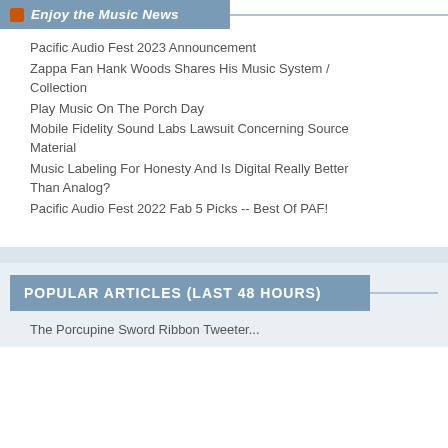Enjoy the Music News
Pacific Audio Fest 2023 Announcement
Zappa Fan Hank Woods Shares His Music System / Collection
Play Music On The Porch Day
Mobile Fidelity Sound Labs Lawsuit Concerning Source Material
Music Labeling For Honesty And Is Digital Really Better Than Analog?
Pacific Audio Fest 2022 Fab 5 Picks -- Best Of PAF!
POPULAR ARTICLES (LAST 48 HOURS)
The Porcupine Sword Ribbon Tweeter...